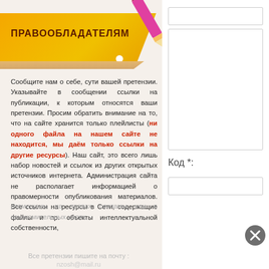ПРАВООБЛАДАТЕЛЯМ
Сообщите нам о себе, сути вашей претензии. Указывайте в сообщении ссылки на публикации, к которым относятся ваши претензии. Просим обратить внимание на то, что на сайте хранится только плейлисты (ни одного файла на нашем сайте не находится, мы даём только ссылки на другие ресурсы). Наш сайт, это всего лишь набор новостей и ссылок из других открытых источников интернета. Администрация сайта не располагает информацией о правомерности опубликования материалов. Все ссылки на ресурсы в Сети, содержащие файлы и пр. объекты интеллектуальной собственности, размещены на правах рекламы или в ознакомительных целях.
Все претензии пишите на почту :
nzosh@mail.ru